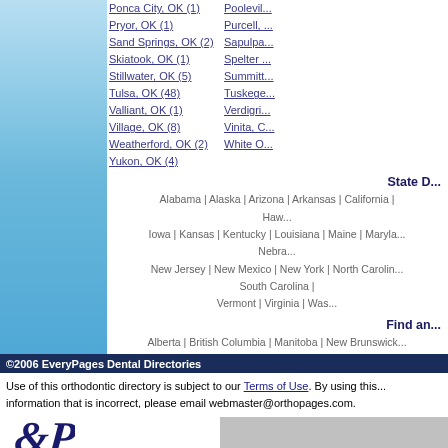Ponca City, OK (1)
Pooleville, ...
Pryor, OK (1)
Purcell, ...
Sand Springs, OK (2)
Sapulpa, ...
Skiatook, OK (1)
Spelter ...
Stillwater, OK (5)
Summit ...
Tulsa, OK (48)
Tuskegee ...
Valliant, OK (1)
Verdigris ...
Village, OK (8)
Vinita, C...
Weatherford, OK (2)
White O...
Yukon, OK (4)
State D...
Alabama | Alaska | Arizona | Arkansas | California | ... Haw...
Iowa | Kansas | Kentucky | Louisiana | Maine | Maryla... Nebra...
New Jersey | New Mexico | New York | North Carolin... South Carolina | ... Vermont | Virginia | Was...
Find an...
Alberta | British Columbia | Manitoba | New Brunswick... Ontario | Prince Edw...
©2006 EveryPages Dental Directories
Use of this orthodontic directory is subject to our Terms of Use. By using this... information that is incorrect, please email webmaster@orthopages.com.
[Figure (logo): EveryPages logo with stylized EP monogram and text 'An EveryPages Directory']